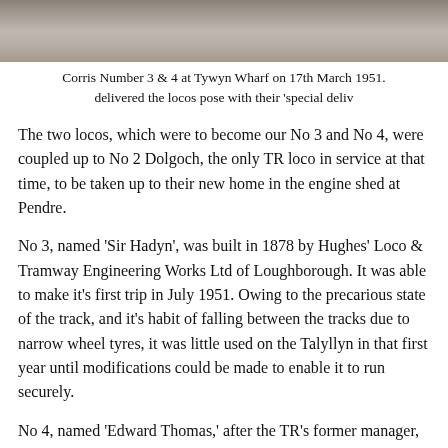[Figure (photo): Grayscale photograph strip showing Corris Number 3 and 4 locomotives at Tywyn Wharf, partially visible at top of page]
Corris Number 3 & 4 at Tywyn Wharf on 17th March 1951. delivered the locos pose with their 'special deliv
The two locos, which were to become our No 3 and No 4, were coupled up to No 2 Dolgoch, the only TR loco in service at that time, to be taken up to their new home in the engine shed at Pendre.
No 3, named 'Sir Hadyn', was built in 1878 by Hughes' Loco & Tramway Engineering Works Ltd of Loughborough. It was able to make it's first trip in July 1951. Owing to the precarious state of the track, and it's habit of falling between the tracks due to narrow wheel tyres, it was little used on the Talyllyn in that first year until modifications could be made to enable it to run securely.
No 4, named 'Edward Thomas,' after the TR's former manager, was built in 1921 by Kerr, Stuart & Co. Ltd. for use on the Corris Railway. After essential repairs had been carried out by the Hunslet Engine Company, the engine entered service on the Talyllyn in 1952 and has proven to be a very successful...